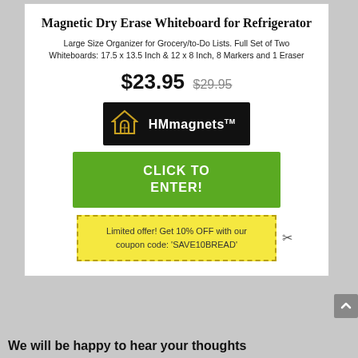Magnetic Dry Erase Whiteboard for Refrigerator
Large Size Organizer for Grocery/to-Do Lists. Full Set of Two Whiteboards: 17.5 x 13.5 Inch & 12 x 8 Inch, 8 Markers and 1 Eraser
$23.95 $29.95
[Figure (logo): HMmagnets logo with house icon on black background]
CLICK TO ENTER!
Limited offer! Get 10% OFF with our coupon code: 'SAVE10BREAD'
We will be happy to hear your thoughts